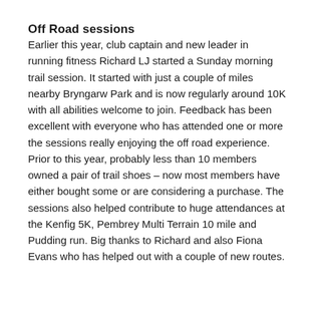Off Road sessions
Earlier this year, club captain and new leader in running fitness Richard LJ started a Sunday morning trail session. It started with just a couple of miles nearby Bryngarw Park and is now regularly around 10K with all abilities welcome to join. Feedback has been excellent with everyone who has attended one or more the sessions really enjoying the off road experience. Prior to this year, probably less than 10 members owned a pair of trail shoes – now most members have either bought some or are considering a purchase. The sessions also helped contribute to huge attendances at the Kenfig 5K, Pembrey Multi Terrain 10 mile and Pudding run. Big thanks to Richard and also Fiona Evans who has helped out with a couple of new routes.